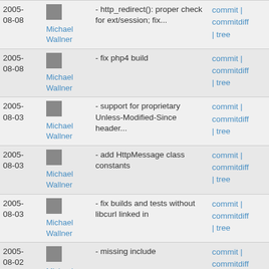| Date | Author | Message | Links |
| --- | --- | --- | --- |
| 2005-08-08 | Michael Wallner | - http_redirect(): proper check for ext/session; fix... | commit | commitdiff | tree |
| 2005-08-08 | Michael Wallner | - fix php4 build | commit | commitdiff | tree |
| 2005-08-03 | Michael Wallner | - support for proprietary Unless-Modified-Since header... | commit | commitdiff | tree |
| 2005-08-03 | Michael Wallner | - add HttpMessage class constants | commit | commitdiff | tree |
| 2005-08-03 | Michael Wallner | - fix builds and tests without libcurl linked in | commit | commitdiff | tree |
| 2005-08-02 | Michael Wallner | - missing include | commit | commitdiff | tree |
| 2005-08-02 | Michael Wallner | - fix PHP4 build | commit | commitdiff |